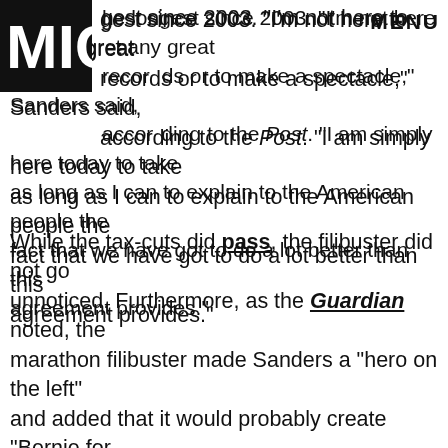MIC | MENU
the longest since 2003. "I'm not here to set any great records or to make a spectacle," Sanders said, according to the Post. "I am simply here today to take as long as I can to explain to the American people the fact that we have got to do a lot better than this agreement provides."
While the tax-cuts did pass, the filibuster did not go unnoticed. Furthermore, as the Guardian noted, the marathon filibuster made Sanders a "hero on the left" and added that it would probably create "Bernie for president talk." After all, attacking income inequality — particularly tax cuts for wealthy citizens — would become a staple in his 2016 campaign rhetoric.